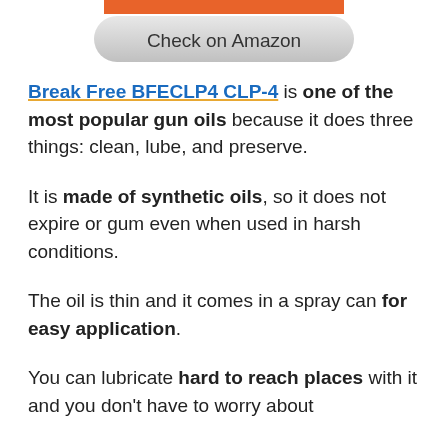[Figure (other): Orange button bar at top of page (partial, cropped)]
[Figure (other): Gray rounded 'Check on Amazon' button]
Break Free BFECLP4 CLP-4 is one of the most popular gun oils because it does three things: clean, lube, and preserve.
It is made of synthetic oils, so it does not expire or gum even when used in harsh conditions.
The oil is thin and it comes in a spray can for easy application.
You can lubricate hard to reach places with it and you don't have to worry about